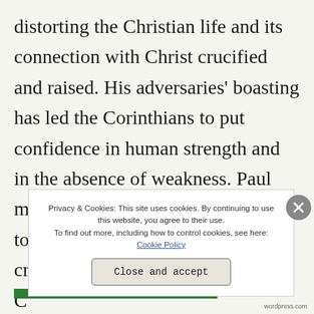distorting the Christian life and its connection with Christ crucified and raised. His adversaries' boasting has led the Corinthians to put confidence in human strength and in the absence of weakness. Paul models for the Corinthians the way to true strength: by the path of the cross, through weakness. 2 C... w...
Privacy & Cookies: This site uses cookies. By continuing to use this website, you agree to their use. To find out more, including how to control cookies, see here: Cookie Policy
Close and accept